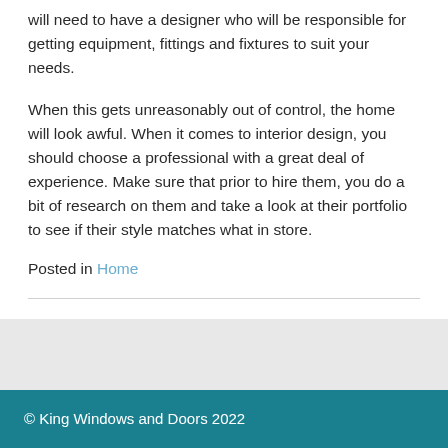will need to have a designer who will be responsible for getting equipment, fittings and fixtures to suit your needs.
When this gets unreasonably out of control, the home will look awful. When it comes to interior design, you should choose a professional with a great deal of experience. Make sure that prior to hire them, you do a bit of research on them and take a look at their portfolio to see if their style matches what in store.
Posted in Home
© King Windows and Doors 2022